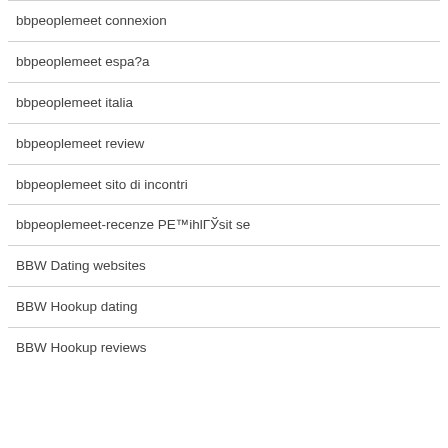bbpeoplemeet connexion
bbpeoplemeet espa?a
bbpeoplemeet italia
bbpeoplemeet review
bbpeoplemeet sito di incontri
bbpeoplemeet-recenze PE™ihlГЎsit se
BBW Dating websites
BBW Hookup dating
BBW Hookup reviews